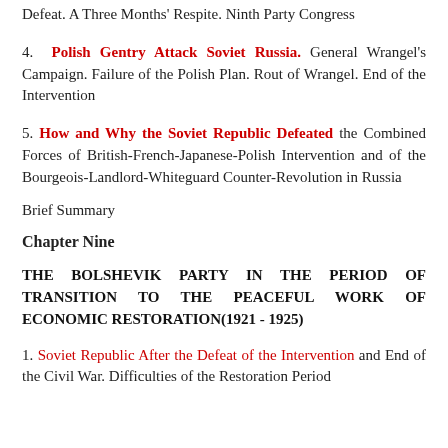Defeat. A Three Months' Respite. Ninth Party Congress
4. Polish Gentry Attack Soviet Russia. General Wrangel's Campaign. Failure of the Polish Plan. Rout of Wrangel. End of the Intervention
5. How and Why the Soviet Republic Defeated the Combined Forces of British-French-Japanese-Polish Intervention and of the Bourgeois-Landlord-Whiteguard Counter-Revolution in Russia
Brief Summary
Chapter Nine
THE BOLSHEVIK PARTY IN THE PERIOD OF TRANSITION TO THE PEACEFUL WORK OF ECONOMIC RESTORATION(1921 - 1925)
1. Soviet Republic After the Defeat of the Intervention and End of the Civil War. Difficulties of the Restoration Period